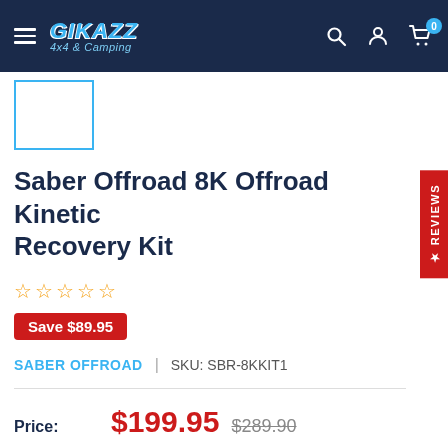GIKAZZ 4x4 & Camping — navigation bar with search, account, and cart icons
[Figure (photo): Product thumbnail image placeholder with teal/cyan border]
Saber Offroad 8K Offroad Kinetic Recovery Kit
☆☆☆☆☆ (star rating, 0 stars)
Save $89.95
SABER OFFROAD | SKU: SBR-8KKIT1
Price: $199.95  $289.90
Quantity: 1